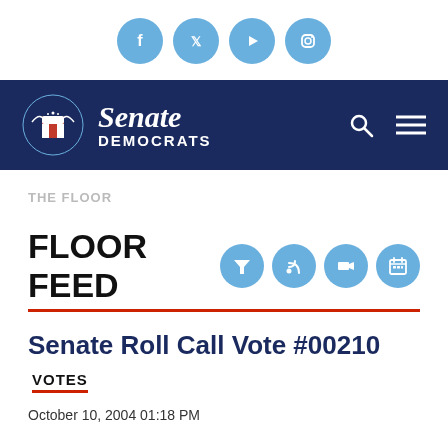[Figure (illustration): Social media icons: Facebook, Twitter, YouTube, Instagram — light blue circles with white icons]
Senate Democrats
THE FLOOR
FLOOR FEED
Senate Roll Call Vote #00210
VOTES
October 10, 2004 01:18 PM